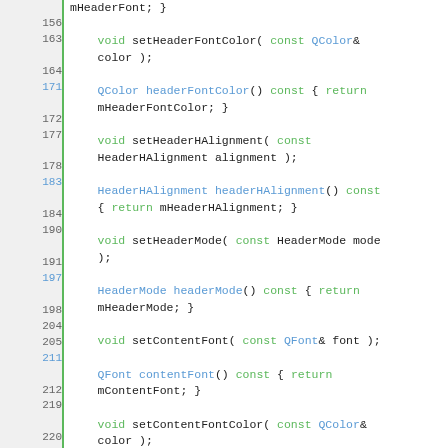[Figure (screenshot): Source code viewer showing C++ class method declarations with line numbers. Lines 156-243 visible, showing methods setHeaderFontColor, headerFontColor, setHeaderHAlignment, headerHAlignment, setHeaderMode, headerMode, setContentFont, contentFont, setContentFontColor, contentFontColor, setShowGrid, showGrid with syntax highlighting in green, blue, and orange on white background.]